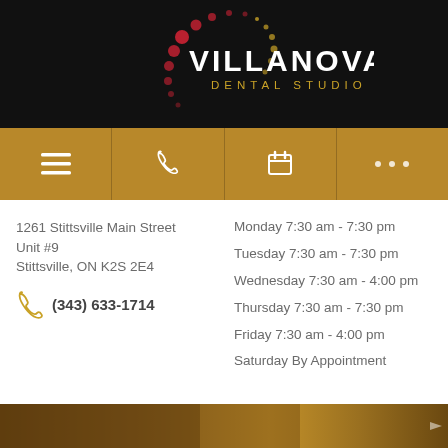[Figure (logo): Villanova Dental Studio logo with decorative dots/circles on black background]
[Figure (other): Golden/amber navigation bar with hamburger menu icon, phone icon, calendar icon, and dots/more icon]
1261 Stittsville Main Street
Unit #9
Stittsville, ON K2S 2E4
(343) 633-1714
Monday 7:30 am - 7:30 pm
Tuesday 7:30 am - 7:30 pm
Wednesday 7:30 am - 4:00 pm
Thursday 7:30 am - 7:30 pm
Friday 7:30 am - 4:00 pm
Saturday By Appointment
[Figure (photo): Partial view of dental office interior at bottom of page]